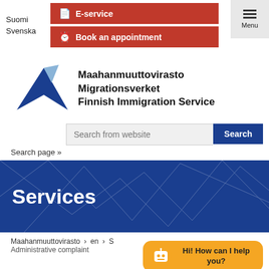Suomi | Svenska
E-service
Book an appointment
[Figure (logo): Finnish Immigration Service logo: blue triangle/arrow shape with text 'Maahanmuuttovirasto Migrationsverket Finnish Immigration Service']
Search from website
Search page »
Services
Maahanmuuttovirasto › en › S
Administrative complaint
Hi! How can I help you?